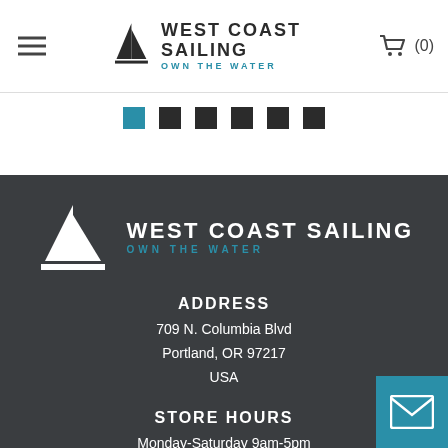[Figure (logo): West Coast Sailing logo in header - sailboat icon with brand name and OWN THE WATER tagline]
[Figure (other): Navigation dots - six squares, first one teal/blue, rest dark/black]
[Figure (logo): West Coast Sailing logo in footer - white sailboat icon with white brand name and teal OWN THE WATER tagline on dark background]
ADDRESS
709 N. Columbia Blvd
Portland, OR 97217
USA
STORE HOURS
Monday-Saturday 9am-5pm
Status Update